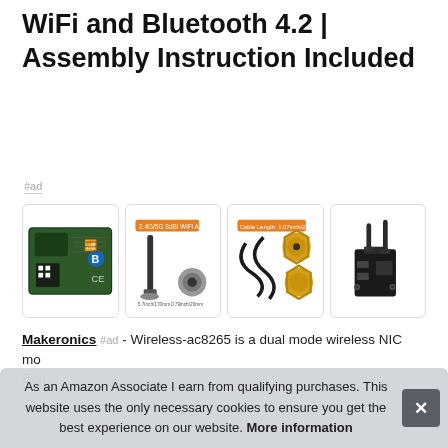WiFi and Bluetooth 4.2 | Assembly Instruction Included
#ad
[Figure (photo): Four product images showing: 1) M.2 wireless NIC card with WiFi and Bluetooth icons, 2) 2.4G/5G 802.11 antennas with label tag, 3) Cable connectors/pigtail cables with label, 4) Desktop bracket assembly with antennas.]
Makeronics #ad - Wireless-ac8265 is a dual mode wireless NIC mo... Equ...
As an Amazon Associate I earn from qualifying purchases. This website uses the only necessary cookies to ensure you get the best experience on our website. More information